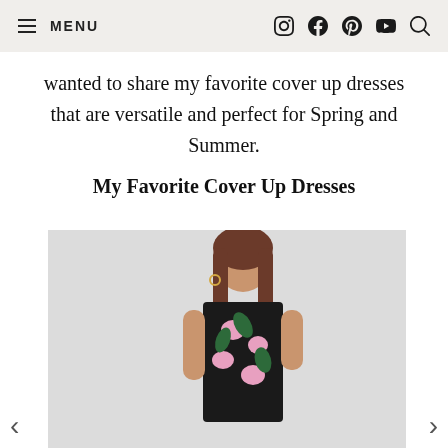MENU
wanted to share my favorite cover up dresses that are versatile and perfect for Spring and Summer.
My Favorite Cover Up Dresses
[Figure (photo): A young woman with long brown hair wearing a black floral tropical print bandeau dress with pink flowers and green palm leaves, photographed against a light grey background.]